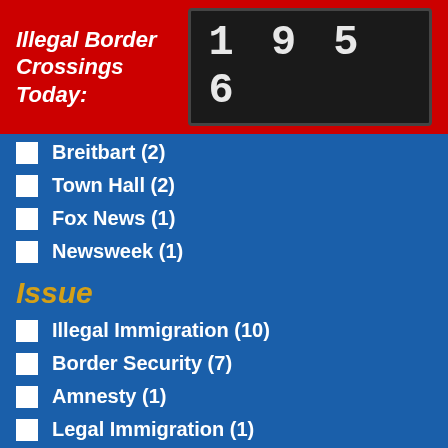Illegal Border Crossings Today: 1956
Breitbart (2)
Town Hall (2)
Fox News (1)
Newsweek (1)
Issue
Illegal Immigration (10)
Border Security (7)
Amnesty (1)
Legal Immigration (1)
Published Date
August 2022 (6)
July 2022 (3)
June 2022 (1)